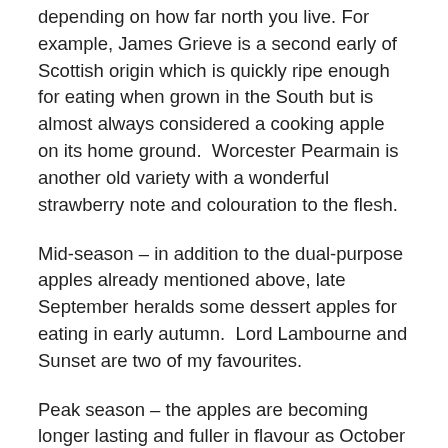depending on how far north you live. For example, James Grieve is a second early of Scottish origin which is quickly ripe enough for eating when grown in the South but is almost always considered a cooking apple on its home ground. Worcester Pearmain is another old variety with a wonderful strawberry note and colouration to the flesh.
Mid-season – in addition to the dual-purpose apples already mentioned above, late September heralds some dessert apples for eating in early autumn. Lord Lambourne and Sunset are two of my favourites.
Peak season – the apples are becoming longer lasting and fuller in flavour as October progresses. Blenheim Orange is an old favourite that is too variable in its cropping for commercial growers. The nuttiness of russeted apples makes them perfect for eating with cheese and there are far more to choose from than the commercial Egremont.